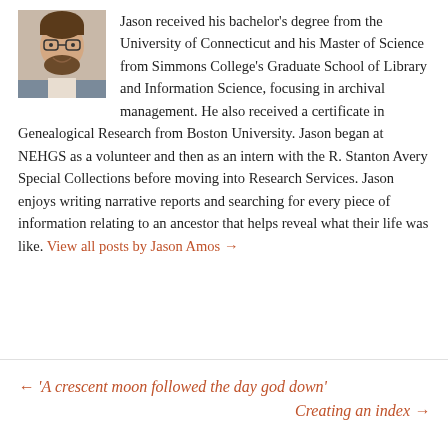[Figure (photo): Headshot photo of Jason Amos, a smiling man with glasses and a beard, wearing a sport coat]
Jason received his bachelor's degree from the University of Connecticut and his Master of Science from Simmons College's Graduate School of Library and Information Science, focusing in archival management. He also received a certificate in Genealogical Research from Boston University. Jason began at NEHGS as a volunteer and then as an intern with the R. Stanton Avery Special Collections before moving into Research Services. Jason enjoys writing narrative reports and searching for every piece of information relating to an ancestor that helps reveal what their life was like. View all posts by Jason Amos →
← 'A crescent moon followed the day god down'
Creating an index →